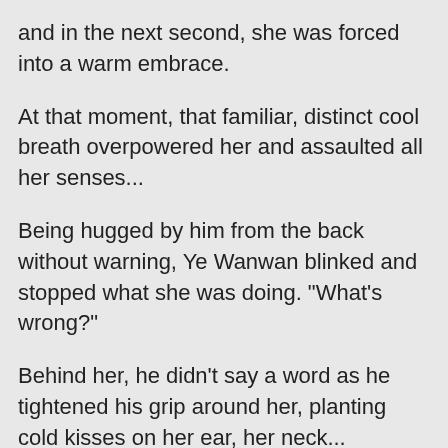and in the next second, she was forced into a warm embrace.
At that moment, that familiar, distinct cool breath overpowered her and assaulted all her senses...
Being hugged by him from the back without warning, Ye Wanwan blinked and stopped what she was doing. "What's wrong?"
Behind her, he didn't say a word as he tightened his grip around her, planting cold kisses on her ear, her neck...
"Ding——"
Just at that moment, the doorbell suddenly rang.